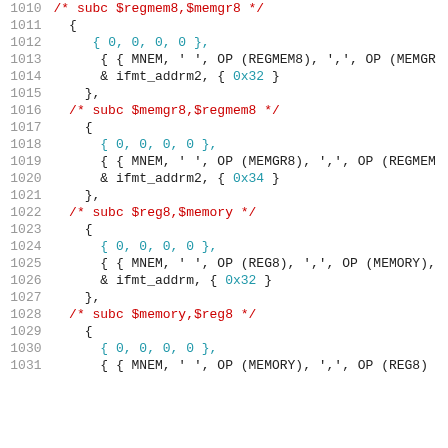[Figure (screenshot): Source code listing with line numbers 1010-1031, showing C-style assembly instruction table entries for subc operations with various memory/register operand combinations. Syntax-highlighted code with comments in red, numeric literals in cyan, identifiers in black/dark.]